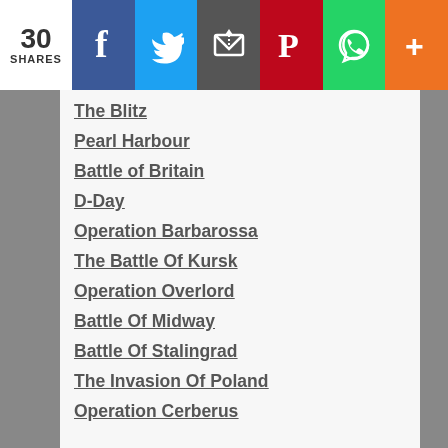30 SHARES | Facebook | Twitter | Email | Pinterest | WhatsApp | More
The Blitz
Pearl Harbour
Battle of Britain
D-Day
Operation Barbarossa
The Battle Of Kursk
Operation Overlord
Battle Of Midway
Battle Of Stalingrad
The Invasion Of Poland
Operation Cerberus
COMMON QUESTIONS
Who started WW2?